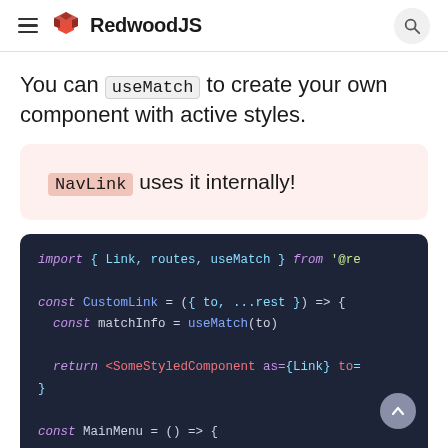RedwoodJS
You can useMatch to create your own component with active styles.
NavLink uses it internally!
[Figure (screenshot): Code block showing JavaScript import and const CustomLink function using useMatch, with syntax highlighting on dark background]